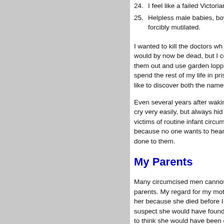24. I feel like a failed Victorian...
25. Helpless male babies, boys... forcibly mutilated.
I wanted to kill the doctors wh... would by now be dead, but I c... them out and use garden lopp... spend the rest of my life in pris... like to discover both the name...
Even several years after wakin... cry very easily, but always hid... victims of routine infant circum... because no one wants to hear... done to them.
My Parents
Many circumcised men cannot... parents. My regard for my mot... her because she died before I... suspect she would have found... to think she would have been e... and remorse.
In the last months of his life I a... was automatic in your generat...